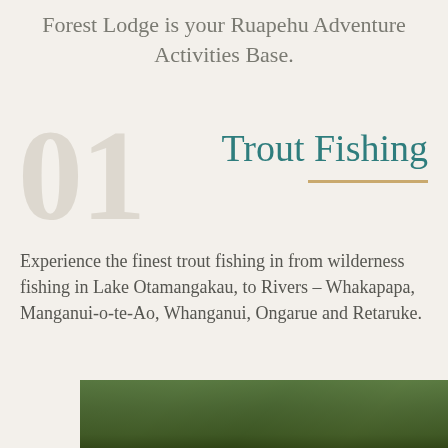Forest Lodge is your Ruapehu Adventure Activities Base.
01  Trout Fishing
Experience the finest trout fishing in from wilderness fishing in Lake Otamangakau, to Rivers – Whakapapa, Manganui-o-te-Ao, Whanganui, Ongarue and Retaruke.
[Figure (photo): Partial photo of a lush green forest or riverbank vegetation, cropped at the bottom of the page.]